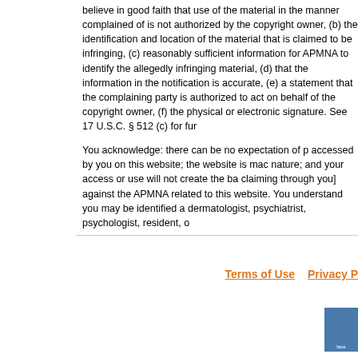believe in good faith that use of the material in the manner complained of is not authorized by the copyright owner, (b) the identification and location of the material that is claimed to be infringing, (c) reasonably sufficient information for APMNA to identify the allegedly infringing material, (d) that the information in the notification is accurate, (e) a statement that the complaining party is authorized to act on behalf of the copyright owner, (f) the physical or electronic signature. See 17 U.S.C. § 512 (c) for further information.
You acknowledge: there can be no expectation of privacy with respect to information accessed by you on this website; the website is made available for professional purposes in nature; and your access or use will not create the basis for any claim by you [or entities claiming through you] against the APMNA related to the information available on this website. You understand you may be identified as a specialty, such as dermatologist, psychiatrist, psychologist, resident, or other.
APMNA reserves the right to modify this Code of Conduct at any time without notice. Your continued use of this website indicates your acceptance of the modifications.
Terms of Use   Privacy P...
[Figure (screenshot): Small thumbnail image, partially visible, appears to be a social media or badge icon with text 'face' visible at the bottom]
Bay Imaging a...